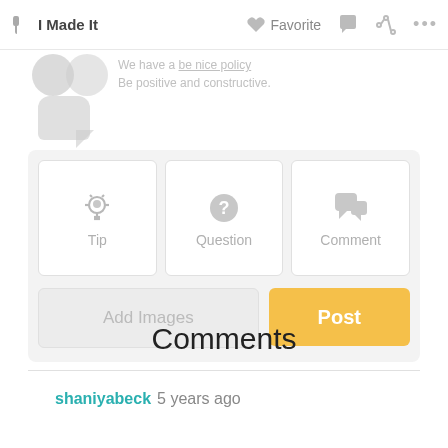✋ I Made It   ♡ Favorite   💬   ⬡   ...
We have a be nice policy
Be positive and constructive.
[Figure (screenshot): Three buttons: Tip (lightbulb icon), Question (question mark icon), Comment (speech bubble icon)]
[Figure (screenshot): Add Images button and Post button (yellow)]
Comments
shaniyabeck 5 years ago